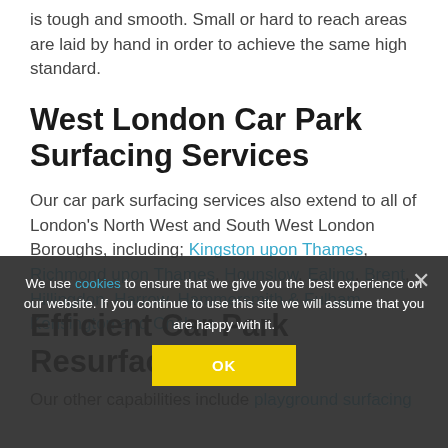is tough and smooth. Small or hard to reach areas are laid by hand in order to achieve the same high standard.
West London Car Park Surfacing Services
Our car park surfacing services also extend to all of London's North West and South West London Boroughs, including; Kingston upon Thames, Richmond upon Thames, Hounslow, Ealing, Brent, Hillingdon, Harrow, Hammersmith & Fulham, Kensington and Chelsea.
Efficient Car Park Resurfacing
Our other capabilities include playground surfacing
We use cookies to ensure that we give you the best experience on our website. If you continue to use this site we will assume that you are happy with it.